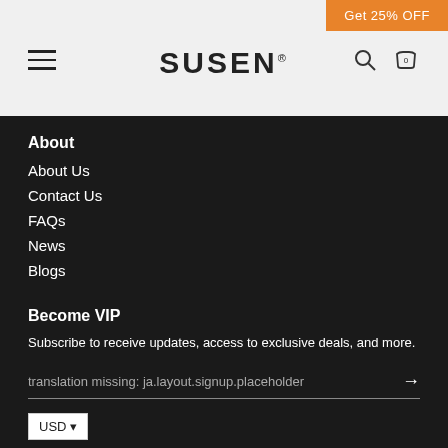Get 25% OFF  SUSEN  0
About
About Us
Contact Us
FAQs
News
Blogs
Become VIP
Subscribe to receive updates, access to exclusive deals, and more.
translation missing: ja.layout.signup.placeholder
USD